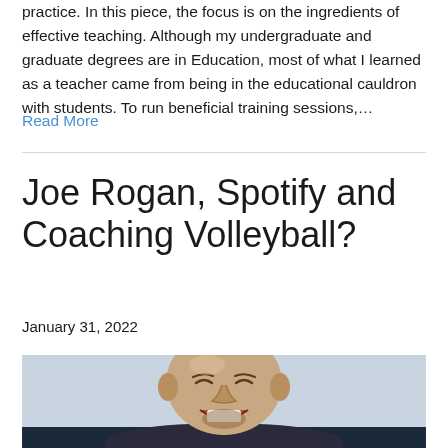practice. In this piece, the focus is on the ingredients of effective teaching. Although my undergraduate and graduate degrees are in Education, most of what I learned as a teacher came from being in the educational cauldron with students. To run beneficial training sessions,…
Read More
Joe Rogan, Spotify and Coaching Volleyball?
January 31, 2022
[Figure (photo): Photo of a bald man laughing, shown from shoulders up against a light background with dark band at bottom]